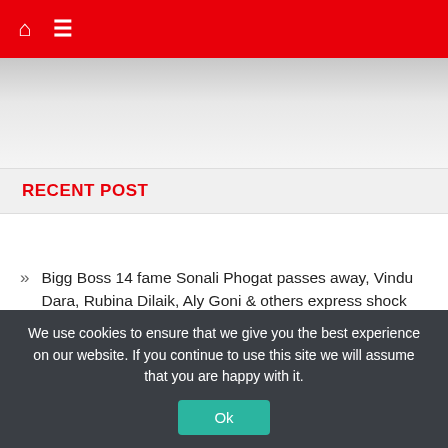Home | Menu
[Figure (other): Advertisement banner area with gray gradient background]
RECENT POST
Bigg Boss 14 fame Sonali Phogat passes away, Vindu Dara, Rubina Dilaik, Aly Goni & others express shock over the sudden demise
August 23, 2022
We use cookies to ensure that we give you the best experience on our website. If you continue to use this site we will assume that you are happy with it.